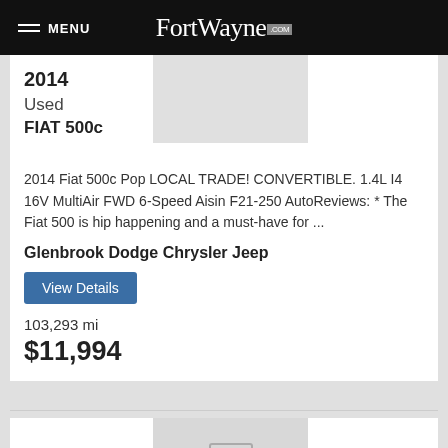MENU FortWayne.com
[Figure (photo): Car listing thumbnail image placeholder (gray rectangle)]
2014
Used
FIAT 500c
2014 Fiat 500c Pop LOCAL TRADE! CONVERTIBLE. 1.4L I4 16V MultiAir FWD 6-Speed Aisin F21-250 AutoReviews: * The Fiat 500 is hip happening and a must-have for ...
Glenbrook Dodge Chrysler Jeep
View Details
103,293 mi
$11,994
[Figure (photo): Second car listing thumbnail image placeholder (gray rectangle with photo icon)]